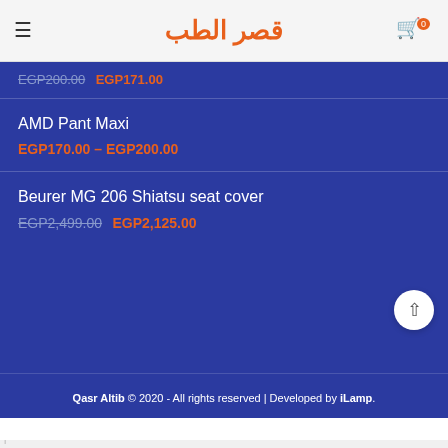Qasr Altib logo and navigation
EGP200.00 EGP171.00
AMD Pant Maxi
EGP170.00 – EGP200.00
Beurer MG 206 Shiatsu seat cover
EGP2,499.00 EGP2,125.00
Qasr Altib © 2020 - All rights reserved | Developed by iLamp.